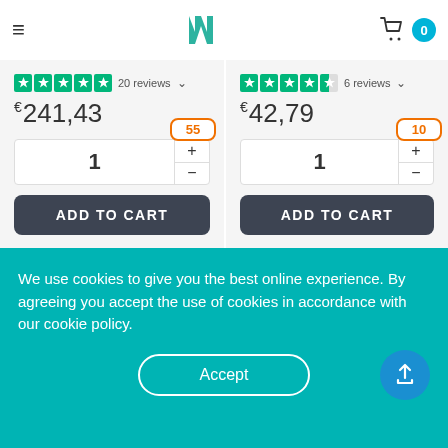Navigation bar with hamburger menu, Myvitamins logo, and cart (0)
20 reviews  €241,43
6 reviews  €42,79
[Figure (photo): Product bottle photo - supplement jar]
[Figure (photo): Eye Support product boxes]
We use cookies to give you the best online experience. By agreeing you accept the use of cookies in accordance with our cookie policy.
Bestrijd seizoensstress
Support